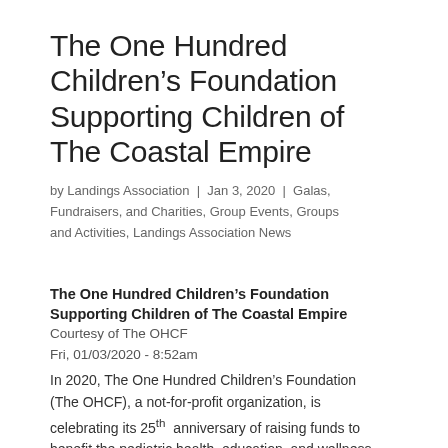The One Hundred Children’s Foundation Supporting Children of The Coastal Empire
by Landings Association | Jan 3, 2020 | Galas, Fundraisers, and Charities, Group Events, Groups and Activities, Landings Association News
The One Hundred Children’s Foundation Supporting Children of The Coastal Empire
Courtesy of The OHCF
Fri, 01/03/2020 - 8:52am
In 2020, The One Hundred Children’s Foundation (The OHCF), a not-for-profit organization, is celebrating its 25th anniversary of raising funds to benefit the pediatric health, education, and wellness